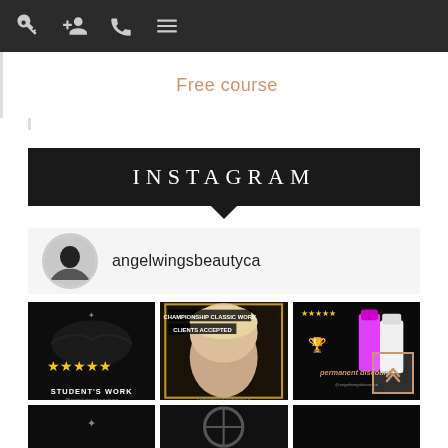Navigation bar with icons: key, add-user, phone, menu
Free course
INSTAGRAM
angelwingsbeautyca
[Figure (photo): Instagram grid showing 6 posts from angelwingsbeautyca: (1) close-up of eyelash extensions with 5 gold stars and 'STUDENT'S WORK' label, (2) woman's face with championship classic work and clients accepted text overlay, (3) beauty product advertisement with 'permanent discount!' text, (4-6) partial bottom row of posts]